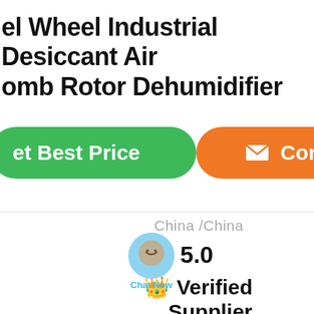el Wheel Industrial Desiccant Air omb Rotor Dehumidifier
[Figure (infographic): Green 'Get Best Price' button, circular chat icon with 'Chat Now' label, and orange 'Contact' button]
China /China
⭐ 5.0
👑 Verified
Supplier